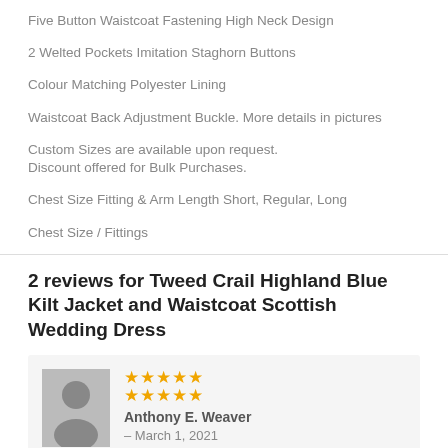Five Button Waistcoat Fastening High Neck Design
2 Welted Pockets Imitation Staghorn Buttons
Colour Matching Polyester Lining
Waistcoat Back Adjustment Buckle. More details in pictures
Custom Sizes are available upon request.
Discount offered for Bulk Purchases.
Chest Size Fitting & Arm Length Short, Regular, Long
Chest Size / Fittings
2 reviews for Tweed Crail Highland Blue Kilt Jacket and Waistcoat Scottish Wedding Dress
Anthony E. Weaver – March 1, 2021